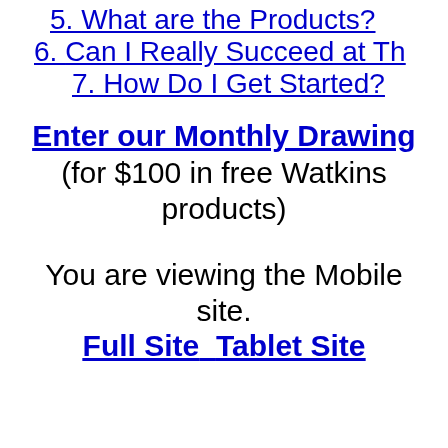5. What are the Products?
6. Can I Really Succeed at Th...
7. How Do I Get Started?
Enter our Monthly Drawing
(for $100 in free Watkins products)
You are viewing the Mobile site.
Full Site  Tablet Site